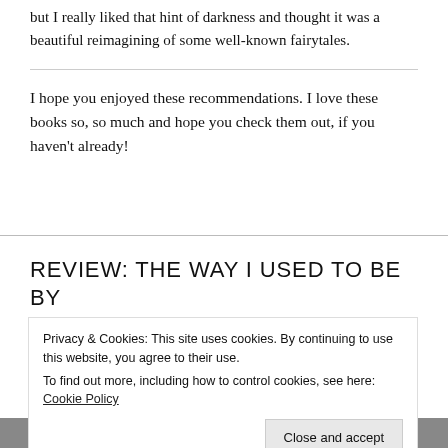but I really liked that hint of darkness and thought it was a beautiful reimagining of some well-known fairytales.
I hope you enjoyed these recommendations. I love these books so, so much and hope you check them out, if you haven't already!
REVIEW: THE WAY I USED TO BE BY AMBER SMITH
Privacy & Cookies: This site uses cookies. By continuing to use this website, you agree to their use.
To find out more, including how to control cookies, see here: Cookie Policy